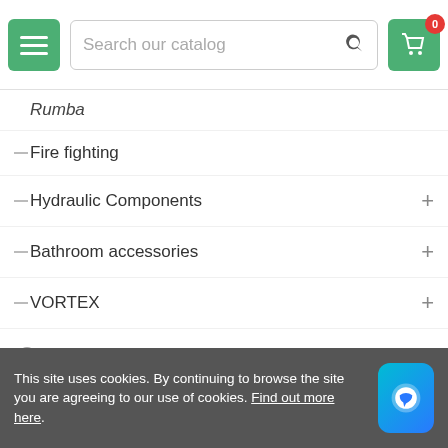Search our catalog — navigation header with hamburger menu and cart (0 items)
Rumba
Fire fighting
Hydraulic Components
Bathroom accessories
VORTEX
Circulators and Pumps
Dust extraction
Hardware
Electric sector
Vegetable garden and garden
This site uses cookies. By continuing to browse the site you are agreeing to our use of cookies. Find out more here.